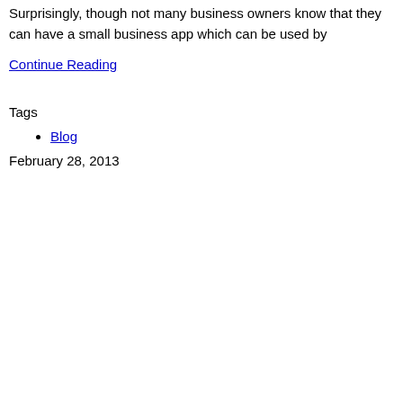Surprisingly, though not many business owners know that they can have a small business app which can be used by
Continue Reading
Tags
Blog
February 28, 2013